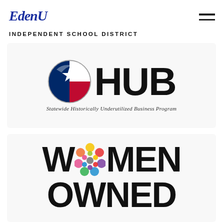[Figure (logo): EdenU script logo in blue italic font, top left]
[Figure (logo): Hamburger menu icon top right, three horizontal black lines]
INDEPENDENT SCHOOL DISTRICT
[Figure (logo): Texas HUB - Statewide Historically Underutilized Business Program logo with Texas state flag circle graphic and bold HUB text]
[Figure (logo): Women Owned logo with colorful flower/circles replacing the O in WOMEN, bold black text WOMEN OWNED]